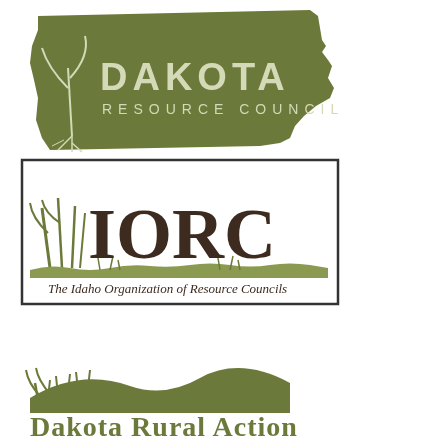[Figure (logo): Dakota Resource Council logo — olive green silhouette of North Dakota state shape with a plant/grass illustration and white text 'DAKOTA RESOURCE COUNCIL']
[Figure (logo): IORC logo — bordered rectangle with green grass illustration, large dark brown letters 'IORC', and subtitle 'The Idaho Organization of Resource Councils']
[Figure (logo): Dakota Rural Action logo — olive green grass and rolling hills illustration above text 'DAKOTA RURAL ACTION' in dark olive serif font]